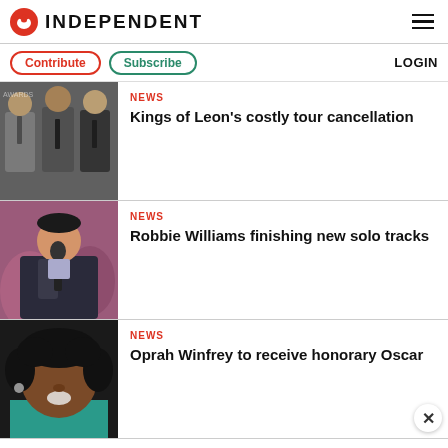INDEPENDENT
Contribute  Subscribe  LOGIN
[Figure (photo): Three men in suits standing at an awards event]
NEWS
Kings of Leon's costly tour cancellation
[Figure (photo): Man in dark suit holding a microphone]
NEWS
Robbie Williams finishing new solo tracks
[Figure (photo): Close-up of a woman with curly hair]
NEWS
Oprah Winfrey to receive honorary Oscar